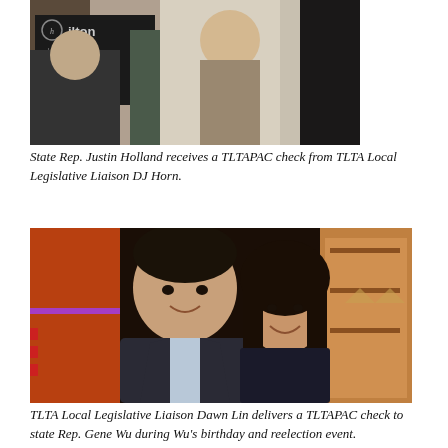[Figure (photo): Photo of State Rep. Justin Holland receiving a TLTAPAC check from TLTA Local Legislative Liaison DJ Horn at a Hilton Dallas/Rockwall Lakefront event.]
State Rep. Justin Holland receives a TLTAPAC check from TLTA Local Legislative Liaison DJ Horn.
[Figure (photo): Photo of TLTA Local Legislative Liaison Dawn Lin and state Rep. Gene Wu smiling together at Wu's birthday and reelection event.]
TLTA Local Legislative Liaison Dawn Lin delivers a TLTAPAC check to state Rep. Gene Wu during Wu's birthday and reelection event.